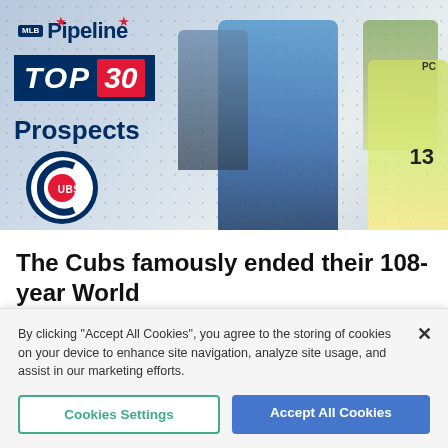[Figure (photo): MLB Pipeline Top 30 Prospects – Chicago Cubs. Hero banner showing the Cubs logo, 'TOP 30 Prospects' text in navy/red, and multiple baseball players in Cubs uniforms and youth uniforms posed together on a dotted light-blue background.]
The Cubs famously ended their 108-year World Series championship drought in 2016 and seemed
By clicking "Accept All Cookies", you agree to the storing of cookies on your device to enhance site navigation, analyze site usage, and assist in our marketing efforts.
Cookies Settings
Accept All Cookies